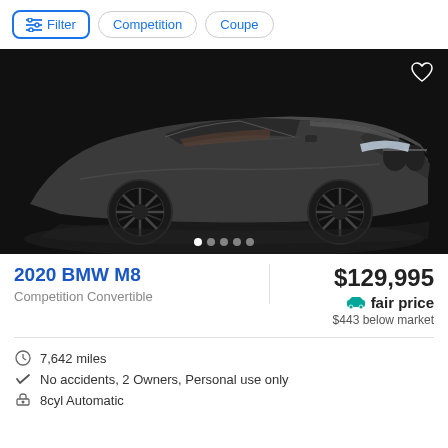Filter | Competition | Coupe
[Figure (photo): 2020 BMW M8 Competition Convertible in dark gray metallic, photographed in a dark studio setting from a front three-quarter angle. Car has a convertible soft top retracted. Heart/favorite icon in top-right corner. Five dot navigation indicators at the bottom.]
2020 BMW M8
Competition Convertible
$129,995
fair price
$443 below market
7,642 miles
No accidents, 2 Owners, Personal use only
8cyl Automatic